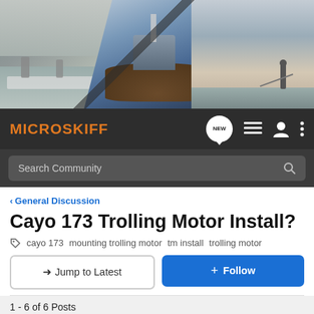[Figure (photo): MicroSkiff website header banner showing three boating/fishing photos: anglers on a flat boat (left), a classic wooden boat center (center, blue teal background), and a person fishing at sunset (right)]
MICROSKIFF
Search Community
< General Discussion
Cayo 173 Trolling Motor Install?
cayo 173  mounting trolling motor  tm install  trolling motor
→ Jump to Latest
+ Follow
1 - 6 of 6 Posts
AgAngler2370 · Registered 🇺🇸